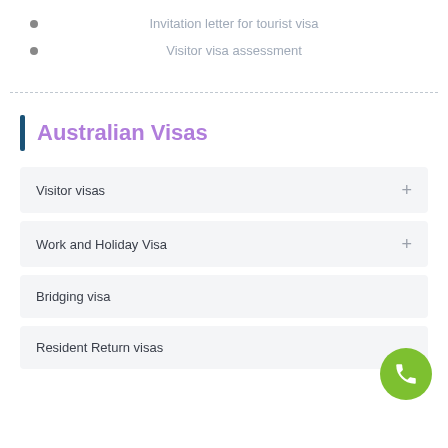Invitation letter for tourist visa
Visitor visa assessment
Australian Visas
Visitor visas
Work and Holiday Visa
Bridging visa
Resident Return visas